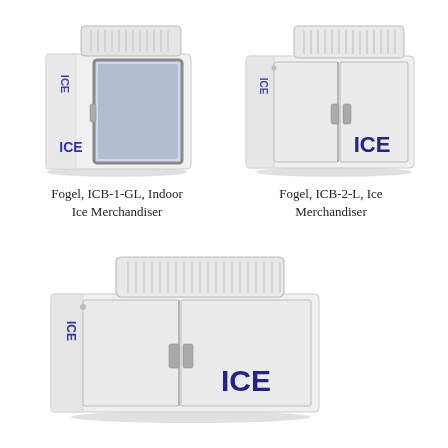[Figure (photo): Fogel ICB-1-GL Indoor Ice Merchandiser with glass door and ICE branding, refrigeration unit on top]
Fogel, ICB-1-GL, Indoor Ice Merchandiser
[Figure (photo): Fogel ICB-2-L Ice Merchandiser with solid double doors and ICE branding, refrigeration unit on top]
Fogel, ICB-2-L, Ice Merchandiser
[Figure (photo): Fogel Ice Merchandiser with solid double doors and large ICE branding on front, refrigeration unit on top, wider model]